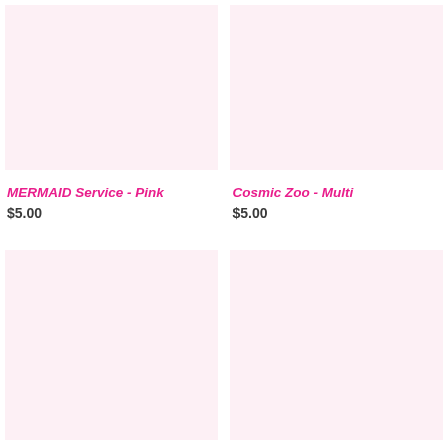[Figure (photo): Product image placeholder with light pink background - MERMAID Service Pink]
[Figure (photo): Product image placeholder with light pink background - Cosmic Zoo Multi]
MERMAID Service - Pink
$5.00
Cosmic Zoo - Multi
$5.00
[Figure (photo): Product image placeholder with light pink background - bottom left]
[Figure (photo): Product image placeholder with light pink background - bottom right]